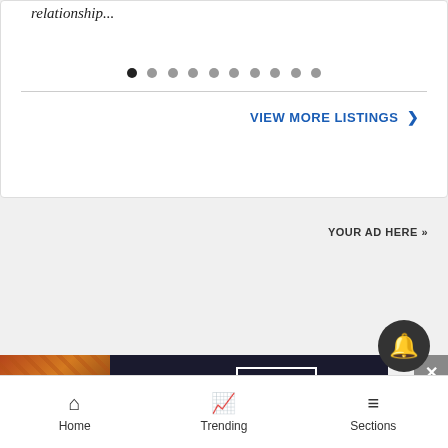relationship...
[Figure (other): Carousel pagination dots, 10 dots with first one active]
VIEW MORE LISTINGS ❯
YOUR AD HERE »
[Figure (other): Seamless food delivery advertisement banner with pizza image, seamless logo in red, and ORDER NOW button]
[Figure (other): Close button X in grey]
[Figure (other): Notification bell icon in dark circle]
Home   Trending   Sections